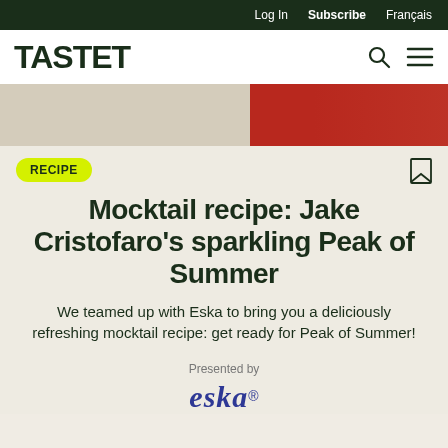Log In  Subscribe  Français
TASTET
[Figure (photo): Hero image strip showing red and cream/beige tones, partial view of a drink or decorative elements]
RECIPE
Mocktail recipe: Jake Cristofaro's sparkling Peak of Summer
We teamed up with Eska to bring you a deliciously refreshing mocktail recipe: get ready for Peak of Summer!
Presented by
[Figure (logo): eska logo in dark blue italic serif font with registered trademark symbol]